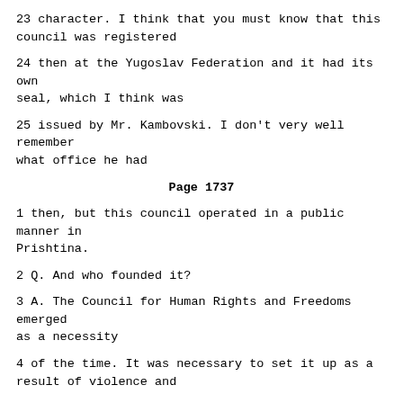23 character. I think that you must know that this council was registered
24 then at the Yugoslav Federation and it had its own seal, which I think was
25 issued by Mr. Kambovski. I don't very well remember what office he had
Page 1737
1 then, but this council operated in a public manner in Prishtina.
2 Q. And who founded it?
3 A. The Council for Human Rights and Freedoms emerged as a necessity
4 of the time. It was necessary to set it up as a result of violence and
5 reprisals that follow the deprivation of autonomy.
6 JUDGE MAY: Mr. Kadriu, can I ask you to listen to the question
7 and try and deal with that. The question was: Who set it up?
8 A. It was founded by a group of intellectuals, but